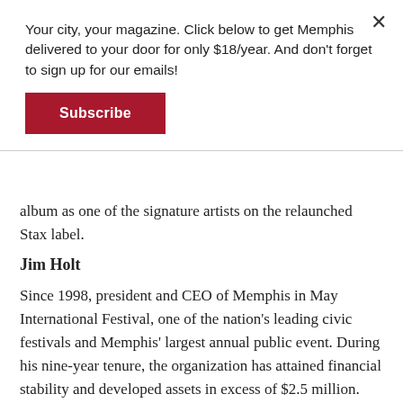Your city, your magazine. Click below to get Memphis delivered to your door for only $18/year. And don't forget to sign up for our emails!
Subscribe
album as one of the signature artists on the relaunched Stax label.
Jim Holt
Since 1998, president and CEO of Memphis in May International Festival, one of the nation's leading civic festivals and Memphis' largest annual public event. During his nine-year tenure, the organization has attained financial stability and developed assets in excess of $2.5 million. Under his management, MIM has been the recipient of 43 prestigious Pinnacle Awards from the